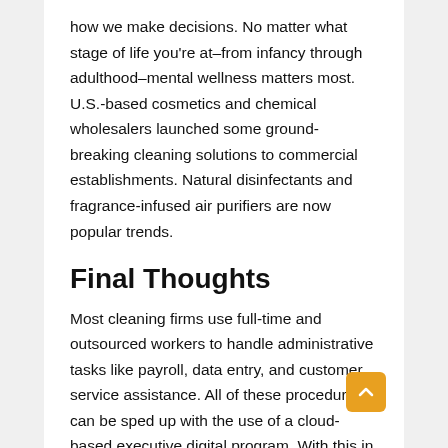how we make decisions. No matter what stage of life you're at–from infancy through adulthood–mental wellness matters most. U.S.-based cosmetics and chemical wholesalers launched some ground-breaking cleaning solutions to commercial establishments. Natural disinfectants and fragrance-infused air purifiers are now popular trends.
Final Thoughts
Most cleaning firms use full-time and outsourced workers to handle administrative tasks like payroll, data entry, and customer service assistance. All of these procedures can be sped up with the use of a cloud-based executive digital program. With this in mind, cleaning businesses can save both time and money by using the